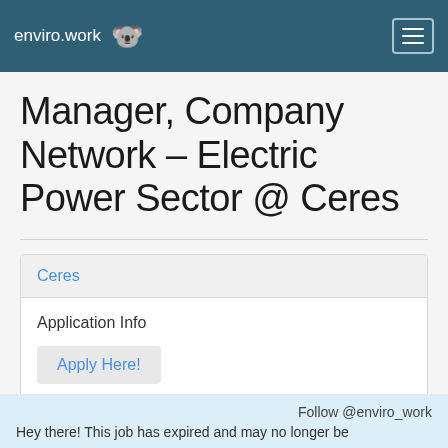enviro.work
Manager, Company Network – Electric Power Sector @ Ceres
Ceres
Application Info
Apply Here!
Follow @enviro_work
Hey there! This job has expired and may no longer be